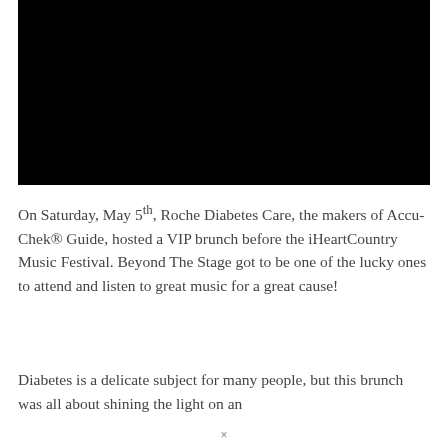[Figure (photo): Black rectangular image block, likely a video thumbnail or photo that appears completely black/dark.]
On Saturday, May 5th, Roche Diabetes Care, the makers of Accu-Chek® Guide, hosted a VIP brunch before the iHeartCountry Music Festival. Beyond The Stage got to be one of the lucky ones to attend and listen to great music for a great cause!
Diabetes is a delicate subject for many people, but this brunch was all about shining the light on an